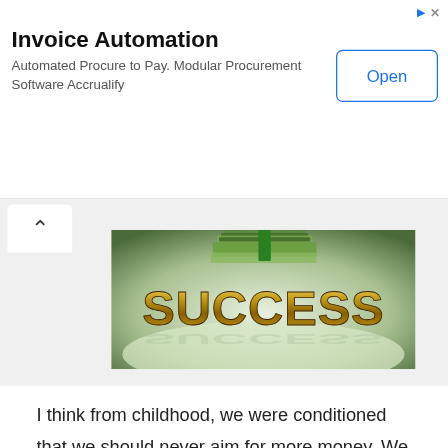Invoice Automation
Automated Procure to Pay. Modular Procurement Software Accrualify
[Figure (photo): 3D golden 'SUCCESS' text with a stack of US dollar bills on a green and white background, with reflection below the text.]
I think from childhood, we were conditioned that we should never aim for more money. We should strive to be a God-fearing, law-abiding, useful citizen of our society and that's it. We should work hard, earn a